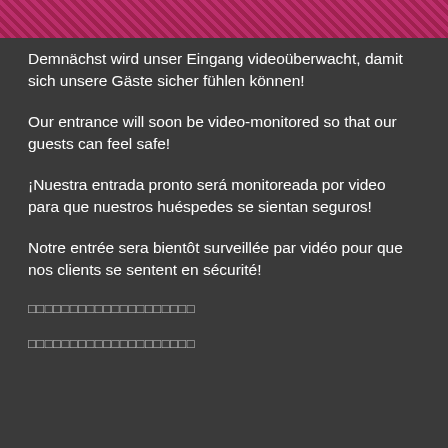[Figure (photo): Partial view of a pink/red decorative image at the top of the page]
Demnächst wird unser Eingang videoüberwacht, damit sich unsere Gäste sicher fühlen können!
Our entrance will soon be video-monitored so that our guests can feel safe!
¡Nuestra entrada pronto será monitoreada por video para que nuestros huéspedes se sientan seguros!
Notre entrée sera bientôt surveillée par vidéo pour que nos clients se sentent en sécurité!
□□□□□□□□□□□□□□□□□□□□
□□□□□□□□□□□□□□□□□□□□